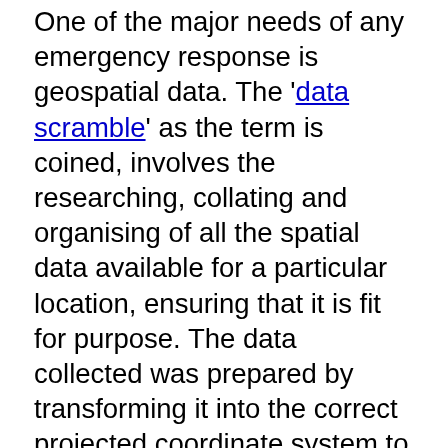One of the major needs of any emergency response is geospatial data. The 'data scramble' as the term is coined, involves the researching, collating and organising of all the spatial data available for a particular location, ensuring that it is fit for purpose. The data collected was prepared by transforming it into the correct projected coordinate system to allow for overlay and integration between different datasets. Datasets included administrative boundaries, such as parishes, census districts, shelter locations, elevation data, transportation networks, buildings, land use, hazard zones, and health centres, just to name a few. These were placed in appropriately themed folder locations so that it would be easy for deployed members to find them during the response.